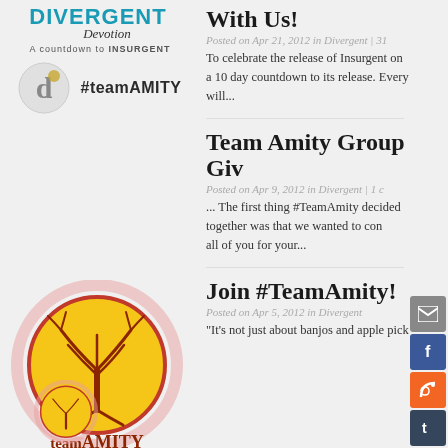[Figure (logo): Divergent Devotion blog logo with teal text and italic subtitle, countdown to INSURGENT text]
[Figure (logo): Circular 'd' logo icon next to #teamAMITY hashtag text]
With Us!
Posted on Apr 21, 2012 in Divergent | 31
To celebrate the release of Insurgent on a 10 day countdown to its release. Every will...
[Figure (illustration): Team Amity circular logo with yellow circle, red tree design, and 'teamAMITY' text]
Team Amity Group Giv
Posted on Apr 9, 2012 in Divergent | 1 c
... The first thing #TeamAmity decided together was that we wanted to con all of you for your...
Join #TeamAmity!
Posted on Apr 5, 2012 in Divergent
“It’s not just about banjos and apple pick